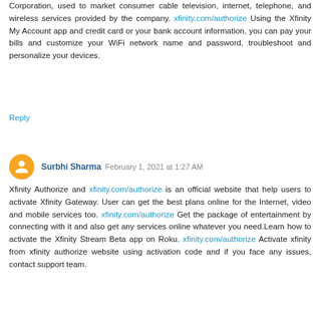Corporation, used to market consumer cable television, internet, telephone, and wireless services provided by the company. xfinity.com/authorize Using the Xfinity My Account app and credit card or your bank account information, you can pay your bills and customize your WiFi network name and password, troubleshoot and personalize your devices.
Reply
Surbhi Sharma  February 1, 2021 at 1:27 AM
Xfinity Authorize and xfinity.com/authorize is an official website that help users to activate Xfinity Gateway. User can get the best plans online for the Internet, video and mobile services too. xfinity.com/authorize Get the package of entertainment by connecting with it and also get any services online whatever you need.Learn how to activate the Xfinity Stream Beta app on Roku. xfinity.com/authorize Activate xfinity from xfinity authorize website using activation code and if you face any issues, contact support team.